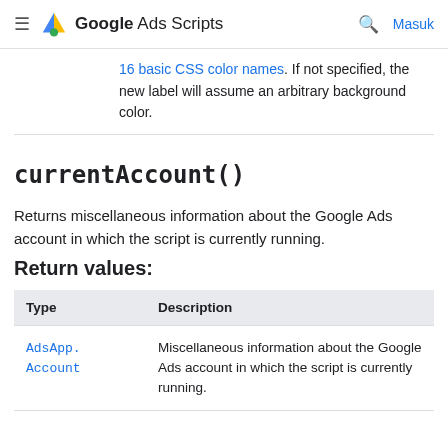≡  Google Ads Scripts  🔍  Masuk
16 basic CSS color names. If not specified, the new label will assume an arbitrary background color.
currentAccount()
Returns miscellaneous information about the Google Ads account in which the script is currently running.
Return values:
| Type | Description |
| --- | --- |
| AdsApp.Account | Miscellaneous information about the Google Ads account in which the script is currently running. |